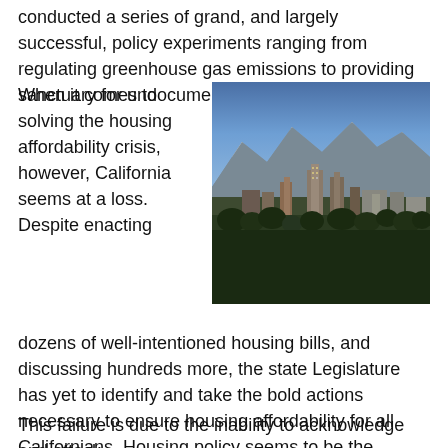conducted a series of grand, and largely successful, policy experiments ranging from regulating greenhouse gas emissions to providing sanctuary for undocumented immigrants.
[Figure (photo): Aerial/skyline photo of Los Angeles with snow-capped mountains in the background and skyscrapers in the foreground.]
When it comes to solving the housing affordability crisis, however, California seems at a loss. Despite enacting dozens of well-intentioned housing bills, and discussing hundreds more, the state Legislature has yet to identify and take the bold actions necessary to ensure housing affordability for all Californians. Housing policy seems to be the ultimate exercise in rocket science or brain surgery.
This failure is due to the inability to acknowledge and attack